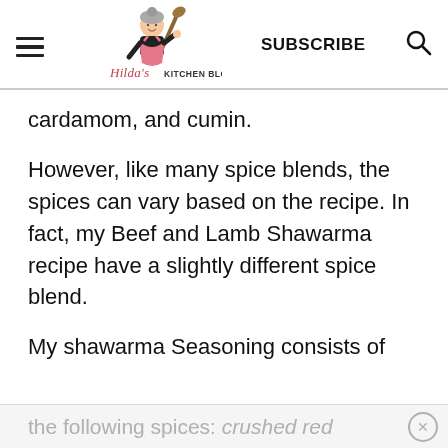Hilda's Kitchen Blog | SUBSCRIBE
cardamom, and cumin.
However, like many spice blends, the spices can vary based on the recipe. In fact, my Beef and Lamb Shawarma recipe have a slightly different spice blend.
My shawarma Seasoning consists of
the following spices: crushed red